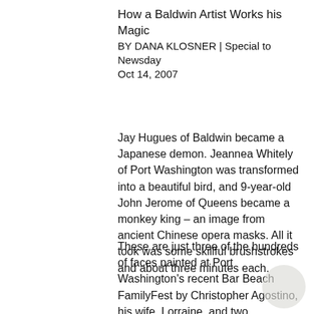How a Baldwin Artist Works his Magic
BY DANA KLOSNER | Special to Newsday
Oct 14, 2007
Jay Hugues of Baldwin became a Japanese demon. Jeannea Whitely of Port Washington was transformed into a beautiful bird, and 9-year-old John Jerome of Queens became a monkey king – an image from ancient Chinese opera masks. All it took was some skillful brushstrokes and about three minutes each.
These are just three of the hundreds of faces painted at Port Washington's recent Bar Beach FamilyFest by Christopher Agostino, his wife, Lorraine, and two employees of his company, Transformation